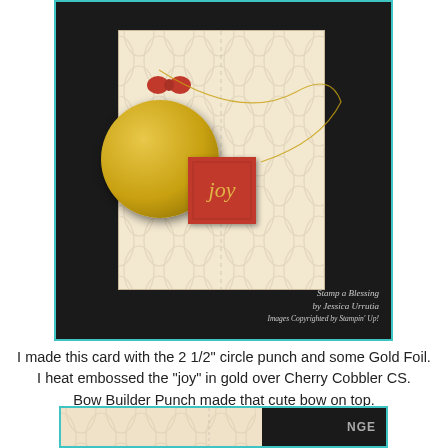[Figure (photo): A handmade Christmas card featuring a large gold foil circle ornament with a red bow on top and a red square tag with 'joy' heat embossed in gold. The card has a cream/beige patterned background with an ogee/lattice design. A gold thread string loops around the ornament. The photo has a teal/cyan border and a dark background. A watermark reads 'Stamp a Blessing by Jessica Urrutia, Images Copyrighted by Stampin' Up!'.]
I made this card with the 2 1/2" circle punch and some Gold Foil. I heat embossed the "joy" in gold over Cherry Cobbler CS. Bow Builder Punch made that cute bow on top.
[Figure (photo): Partial view of a card showing a cream/beige patterned background with the same ogee lattice design, a dark corner section, and text partially visible reading 'NGE'. A diagonal stitch line is visible. The image has a teal/cyan border.]